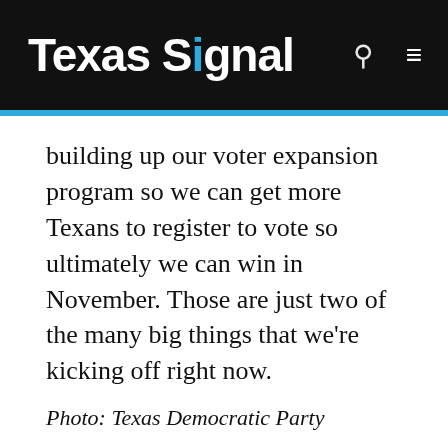Texas Signal
building up our voter expansion program so we can get more Texans to register to vote so ultimately we can win in November. Those are just two of the many big things that we're kicking off right now.
Photo: Texas Democratic Party
Are you tired of Texas Republicans pushing big lies and trying to steal your vote? So are we, that's why we're fighting back against the right-wing lie machine. Our commitment to ethical, fact-based